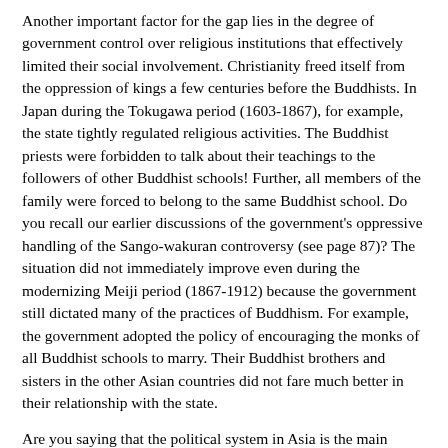Another important factor for the gap lies in the degree of government control over religious institutions that effectively limited their social involvement. Christianity freed itself from the oppression of kings a few centuries before the Buddhists. In Japan during the Tokugawa period (1603-1867), for example, the state tightly regulated religious activities. The Buddhist priests were forbidden to talk about their teachings to the followers of other Buddhist schools! Further, all members of the family were forced to belong to the same Buddhist school. Do you recall our earlier discussions of the government's oppressive handling of the Sango-wakuran controversy (see page 87)? The situation did not immediately improve even during the modernizing Meiji period (1867-1912) because the government still dictated many of the practices of Buddhism. For example, the government adopted the policy of encouraging the monks of all Buddhist schools to marry. Their Buddhist brothers and sisters in the other Asian countries did not fare much better in their relationship with the state.
Are you saying that the political system in Asia is the main reason for the attitude of many Buddhists toward matters of the world?
Yes, but not all. The Buddhist emphasis on the mind and self-reflection puts more emphasis on personal growth before helping others. We cannot truly help others if we have not helped ourselves